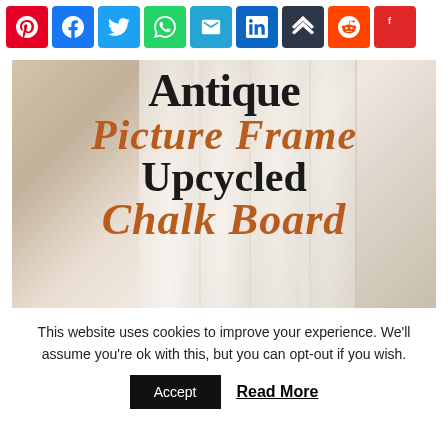[Figure (other): Row of social media share buttons: Pinterest (red), Facebook (blue), Twitter (light blue), WhatsApp (green), Email (teal), LinkedIn (dark blue), Buffer (dark), Reddit (orange-red), Flipboard (red)]
[Figure (photo): Hero image with distressed white wooden door planks background. Text overlay reads: 'Antique' (black serif), 'Picture Frame' (rust/brown italic script), 'Upcycled' (black serif bold), 'Chalk Board' (rust/brown italic script)]
This website uses cookies to improve your experience. We'll assume you're ok with this, but you can opt-out if you wish.
Accept   Read More